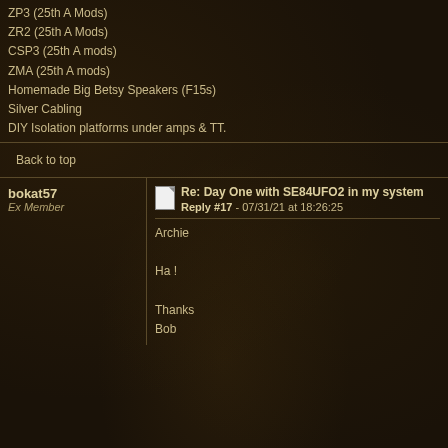ZP3 (25th A Mods)
ZR2 (25th A Mods)
CSP3 (25th A mods)
ZMA (25th A mods)
Homemade Big Betsy Speakers (F15s)
Silver Cabling
DIY Isolation platforms under amps & TT.
Back to top
Re: Day One with SE84UFO2 in my system
Reply #17 - 07/31/21 at 18:26:25
bokat57
Ex Member
Archie

Ha !

Thanks
Bob
Back to top
Re: Day One with SE84UFO2 in my system
Reply #18 - 07/31/21 at 18:43:58
Archie
Seasoned Member
Bob,